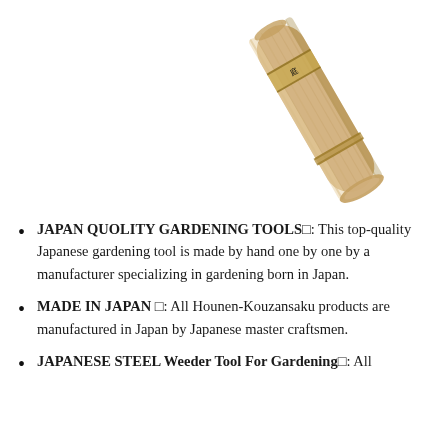[Figure (photo): A wooden handle of a Japanese gardening tool (weeder), photographed at a diagonal angle showing the natural wood grain and a Japanese text label/band near the top of the handle. The handle is cylindrical, wider at the bottom, tapering slightly, with a light tan/beige color.]
JAPAN QUOLITY GARDENING TOOLS□: This top-quality Japanese gardening tool is made by hand one by one by a manufacturer specializing in gardening born in Japan.
MADE IN JAPAN □: All Hounen-Kouzansaku products are manufactured in Japan by Japanese master craftsmen.
JAPANESE STEEL Weeder Tool For Gardening□: All